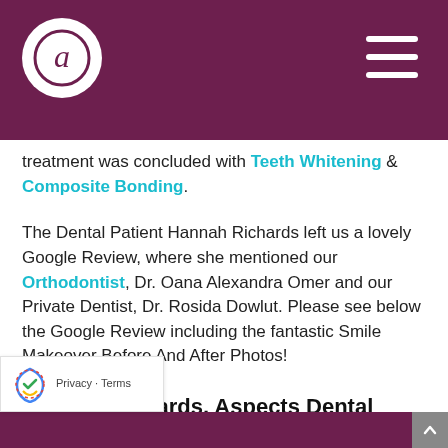Aspects Dental logo and navigation
treatment was concluded with Teeth Whitening & Composite Bonding.
The Dental Patient Hannah Richards left us a lovely Google Review, where she mentioned our Orthodontist, Dr. Oana Alexandra Omer and our Private Dentist, Dr. Rosida Dowlut. Please see below the Google Review including the fantastic Smile Makeover Before And After Photos!
Hannah Richards, Aspects Dental Google Review – Smile Makeover lton Keynes...